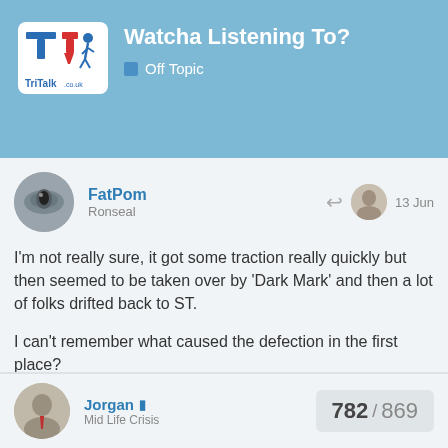Watcha Listening To? — Off Topic
Watcha Listening To?
Off Topic
FatPom
Ronseal
13 Jun
I'm not really sure, it got some traction really quickly but then seemed to be taken over by 'Dark Mark' and then a lot of folks drifted back to ST.

I can't remember what caused the defection in the first place?

I first heard of him with the Middle East (Dubai?) accident.
Jorgan
Mid Life Crisis
782 / 869